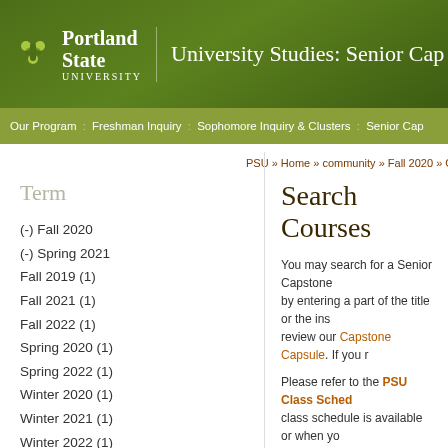Portland State University | University Studies: Senior Cap
Our Program : Freshman Inquiry : Sophomore Inquiry & Clusters : Senior Cap
PSU » Home » community » Fall 2020 » Online o
Search Courses
Term
(-) Fall 2020
(-) Spring 2021
Fall 2019 (1)
Fall 2021 (1)
Fall 2022 (1)
Spring 2020 (1)
Spring 2022 (1)
Winter 2020 (1)
Winter 2021 (1)
Winter 2022 (1)
You may search for a Senior Capstone by entering a part of the title or the ins review our Capstone Capsule. If you r
Please refer to the PSU Class Sched class schedule is available or when yo
NOTE: Due to the intensive nature the first day of class if they are goi demonstrate active participation du and participation into the final gra
NOTE: "Sustainability" tagged cou seek approval from Joseph Maser,